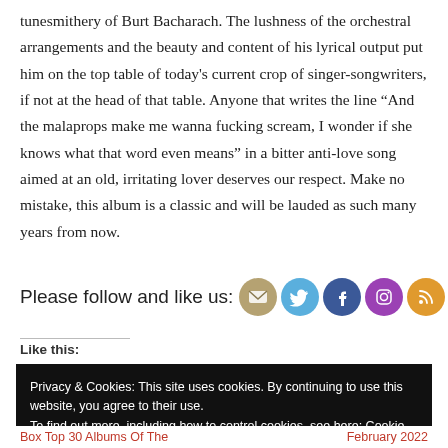tunesmithery of Burt Bacharach. The lushness of the orchestral arrangements and the beauty and content of his lyrical output put him on the top table of today's current crop of singer-songwriters, if not at the head of that table. Anyone that writes the line “And the malaprops make me wanna fucking scream, I wonder if she knows what that word even means” in a bitter anti-love song aimed at an old, irritating lover deserves our respect. Make no mistake, this album is a classic and will be lauded as such many years from now.
Please follow and like us:
[Figure (infographic): Social media icons: email (beige), Twitter (blue), Facebook (dark blue), Instagram (purple), RSS (orange)]
Like this:
Privacy & Cookies: This site uses cookies. By continuing to use this website, you agree to their use.
To find out more, including how to control cookies, see here: Cookie Policy
Box Top 30 Albums Of The
February 2022